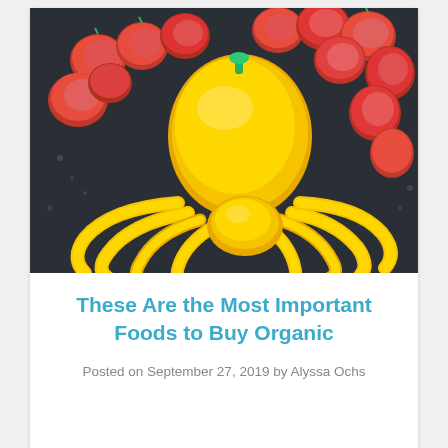[Figure (photo): Artistic arrangement of vegetables on a dark wet surface: yellow bell pepper and yellow pepper slices arranged to look like an octopus, surrounded by red cherry tomatoes]
These Are the Most Important Foods to Buy Organic
Posted on September 27, 2019 by Alyssa Ochs